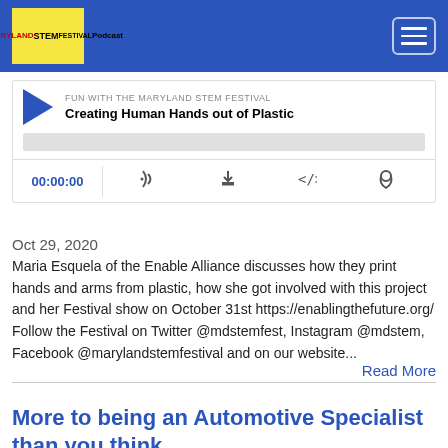Fun With Maryland STEM Festival Podcast
[Figure (screenshot): Audio player widget showing 'Creating Human Hands out of Plastic' podcast episode from Fun With the Maryland STEM Festival, with play button, progress bar, timestamp 00:00:00 and control icons]
Oct 29, 2020
Maria Esquela of the Enable Alliance discusses how they print hands and arms from plastic, how she got involved with this project and her Festival show on October 31st https://enablingthefuture.org/ Follow the Festival on Twitter @mdstemfest, Instagram @mdstem, Facebook @marylandstemfestival and on our website...
Read More
More to being an Automotive Specialist than you think